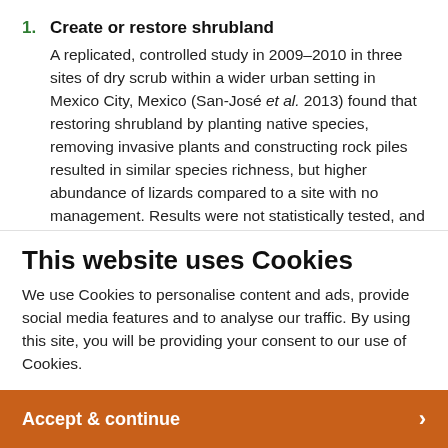1. Create or restore shrubland
A replicated, controlled study in 2009–2010 in three sites of dry scrub within a wider urban setting in Mexico City, Mexico (San-José et al. 2013) found that restoring shrubland by planting native species, removing invasive plants and constructing rock piles resulted in similar species richness, but higher abundance of lizards compared to a site with no management. Results were not statistically tested, and the effect of each
This website uses Cookies
We use Cookies to personalise content and ads, provide social media features and to analyse our traffic. By using this site, you will be providing your consent to our use of Cookies.